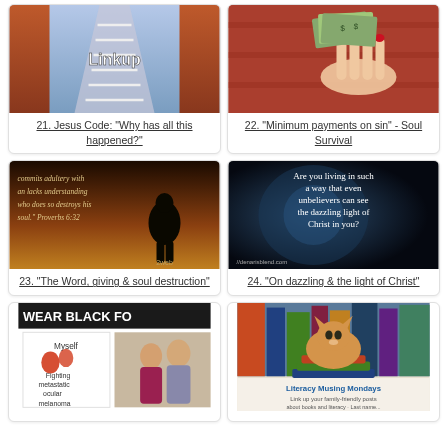[Figure (photo): Outdoor stone staircase lined with autumn trees, text overlay 'Linkup']
21. Jesus Code: "Why has all this happened?"
[Figure (photo): Hand holding fanned out US dollar bills with red manicured nails]
22. "Minimum payments on sin" - Soul Survival
[Figure (photo): Dark silhouette image with scripture text: commits adultery with an lacks understanding who does so destroys his soul. Proverbs 6:32]
23. "The Word, giving & soul destruction"
[Figure (photo): Dark background with white text: Are you living in such a way that even unbelievers can see the dazzling light of Christ in you?]
24. "On dazzling & the light of Christ"
[Figure (photo): WEAR BLACK FOR text banner with person fighting metastatic ocular melanoma, couple photo]
[Figure (photo): Orange cat sitting on stack of books, text Literacy Musing Mondays - Link up your family-friendly posts]